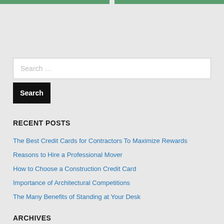[Figure (other): Two green navigation buttons/tabs at the top of the page with a small gap between them]
Search …
Search
RECENT POSTS
The Best Credit Cards for Contractors To Maximize Rewards
Reasons to Hire a Professional Mover
How to Choose a Construction Credit Card
Importance of Architectural Competitions
The Many Benefits of Standing at Your Desk
ARCHIVES